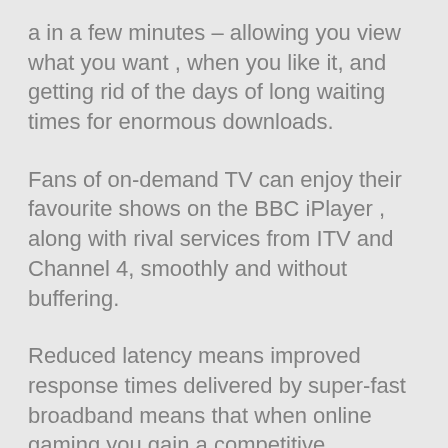a in a few minutes – allowing you view what you want , when you like it, and getting rid of the days of long waiting times for enormous downloads.
Fans of on-demand TV can enjoy their favourite shows on the BBC iPlayer , along with rival services from ITV and Channel 4, smoothly and without buffering.
Reduced latency means improved response times delivered by super-fast broadband means that when online gaming you gain a competitive advantage over the opponents and can enjoy a better gaming experience.
Disadvantages of FTTC